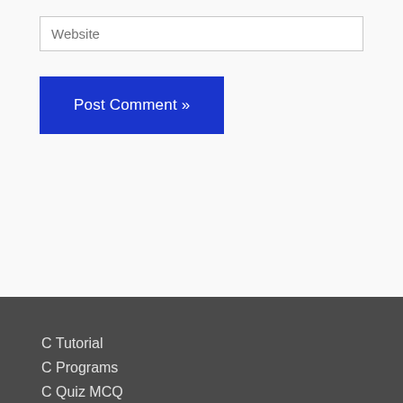Website
Post Comment »
C Tutorial
C Programs
C Quiz MCQ
C++ Programs
Python Programs
Oracle Database